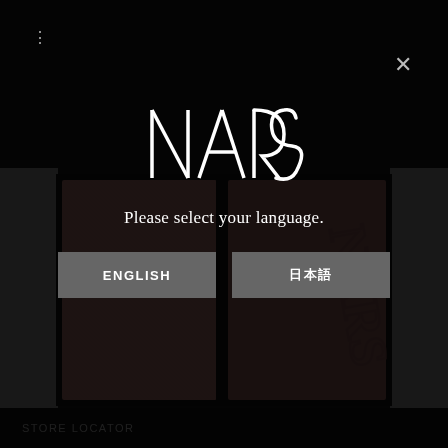[Figure (screenshot): NARS cosmetics website screenshot showing a language selection modal dialog over a blush palette product image. The modal has the NARS logo, 'Please select your language.' text, and two buttons: ENGLISH and a Japanese language option. Background shows a NARS blush duo palette in mauve/rose tones.]
Please select your language.
ENGLISH
日本語
STORE LOCATOR